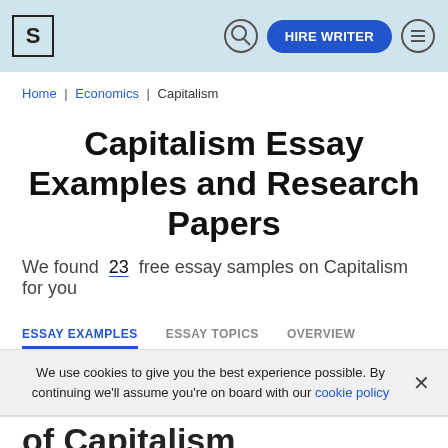S | [search icon] HIRE WRITER [menu icon]
Home | Economics | Capitalism
Capitalism Essay Examples and Research Papers
We found 23 free essay samples on Capitalism for you
ESSAY EXAMPLES   ESSAY TOPICS   OVERVIEW
We use cookies to give you the best experience possible. By continuing we'll assume you're on board with our cookie policy
of Capitalism